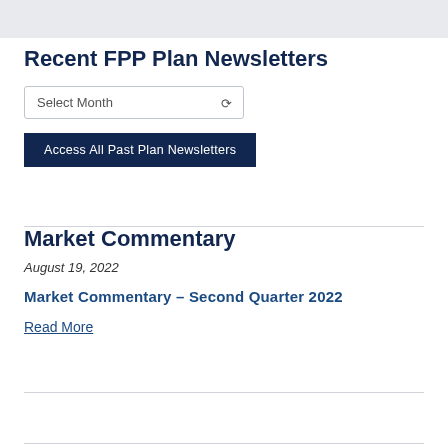Recent FPP Plan Newsletters
Select Month
Access All Past Plan Newsletters
Market Commentary
August 19, 2022
Market Commentary – Second Quarter 2022
Read More